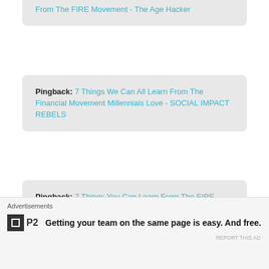Pingback: From The FIRE Movement - The Age Hacker
Pingback: 7 Things We Can All Learn From The Financial Movement Millennials Love - SOCIAL IMPACT REBELS
Pingback: 7 Things You Can Learn From The FIRE Movement – Get Finance Daily
[Figure (illustration): Partial red/pink pinwheel or fan icon at bottom left]
Advertisements
Getting your team on the same page is easy. And free.